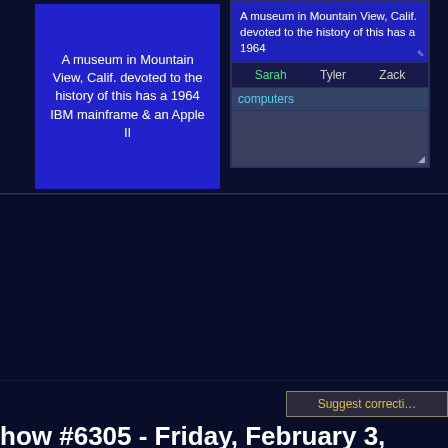A museum in Mountain View, Calif. devoted to the history of this has a 1964 IBM mainframe & an Apple II
A museum in Mountain View, Calif. devoted to the history of this has a 1964
Sarah   Tyler   Zack
computers
Suggest correcti…
how #6305 - Friday, February 3, 2012
2012 College Championship quarterfinal game 3.